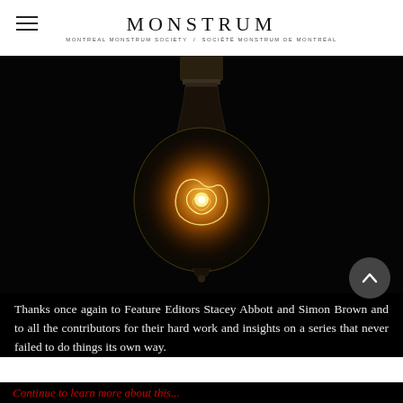MONSTRUM
MONTREAL MONSTRUM SOCIETY / SOCIÉTÉ MONSTRUM DE MONTRÉAL
[Figure (photo): A vintage incandescent Edison-style light bulb hanging against a dark black background, glowing with warm orange filament light.]
Thanks once again to Feature Editors Stacey Abbott and Simon Brown and to all the contributors for their hard work and insights on a series that never failed to do things its own way.
Continue to learn more about this...